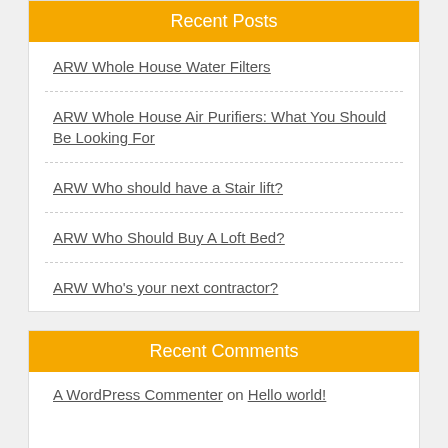Recent Posts
ARW Whole House Water Filters
ARW Whole House Air Purifiers: What You Should Be Looking For
ARW Who should have a Stair lift?
ARW Who Should Buy A Loft Bed?
ARW Who's your next contractor?
Recent Comments
A WordPress Commenter on Hello world!